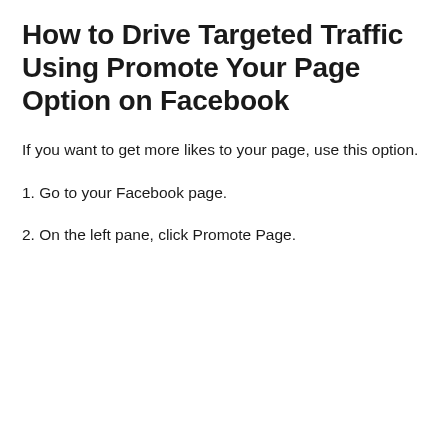How to Drive Targeted Traffic Using Promote Your Page Option on Facebook
If you want to get more likes to your page, use this option.
1. Go to your Facebook page.
2. On the left pane, click Promote Page.